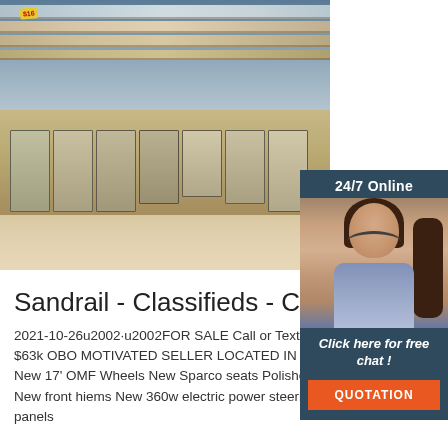[Figure (photo): Interior of a retail/grocery store with display counters and shelving units stocked with products, hardwood floor]
[Figure (photo): Chat widget overlay with '24/7 Online' header, woman wearing headset smiling, 'Click here for free chat!' text, and orange QUOTATION button]
Sandrail - Classifieds - Claz.Org
2021-10-26u2002·u2002FOR SALE Call or Text 520-269-5019 PRICE $63k OBO MOTIVATED SELLER LOCATED IN TUCSON AZ BFD New 17' OMF Wheels New Sparco seats Polished billet upper a arms New front hiems New 360w electric power steering New powder coat panels